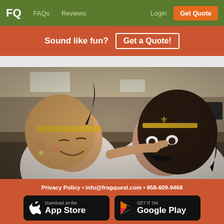FQ  FAQs  Reviews  Login  Get Quote
Sound like fun?  Get a Quote!
[Figure (photo): Two women laughing in a restaurant booth, both wearing gold headbands — one with a feathered headband, one with a fleur-de-lis crown. The woman on the right appears to have face paint. Restaurant interior visible in background.]
Privacy Policy • info@frogquest.com • 858-609-9468
Download on the App Store
GET IT ON Google Play